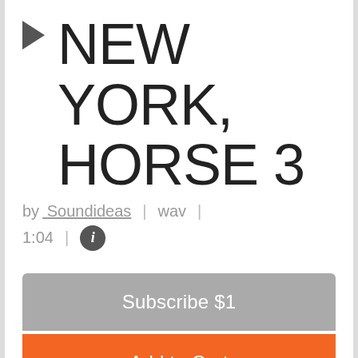▶ NEW YORK, HORSE 3
by Soundideas | wav | 1:04 | ℹ
Subscribe $1
Add to Cart